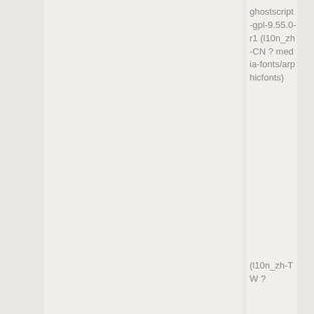ghostscript-gpl-9.55.0-r1 (l10n_zh-CN ? media-fonts/arphicfonts)
(l10n_zh-TW ?